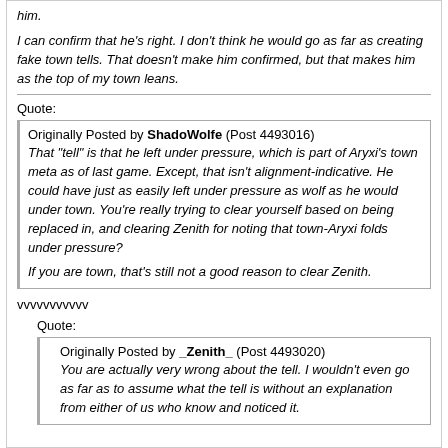him.
I can confirm that he's right. I don't think he would go as far as creating fake town tells. That doesn't make him confirmed, but that makes him as the top of my town leans.
Quote:
Originally Posted by ShadoWolfe (Post 4493016)
That "tell" is that he left under pressure, which is part of Aryxi's town meta as of last game. Except, that isn't alignment-indicative. He could have just as easily left under pressure as wolf as he would under town. You're really trying to clear yourself based on being replaced in, and clearing Zenith for noting that town-Aryxi folds under pressure?

If you are town, that's still not a good reason to clear Zenith.
vvvvvvvvvvv
Quote:
Originally Posted by _Zenith_ (Post 4493020)
You are actually very wrong about the tell. I wouldn't even go as far as to assume what the tell is without an explanation from either of us who know and noticed it.